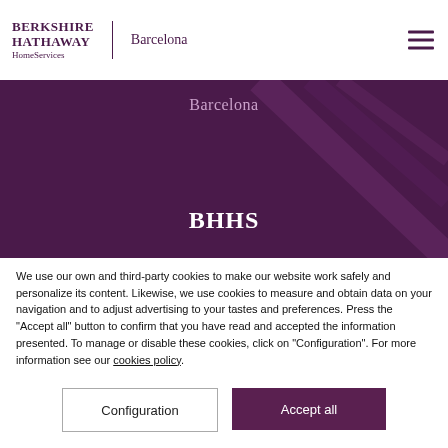BERKSHIRE HATHAWAY HomeServices | Barcelona
[Figure (screenshot): Dark purple hero banner with 'Barcelona' subtitle and 'BHHS' large title, decorative diagonal lines]
We use our own and third-party cookies to make our website work safely and personalize its content. Likewise, we use cookies to measure and obtain data on your navigation and to adjust advertising to your tastes and preferences. Press the "Accept all" button to confirm that you have read and accepted the information presented. To manage or disable these cookies, click on "Configuration". For more information see our cookies policy.
Configuration
Accept all